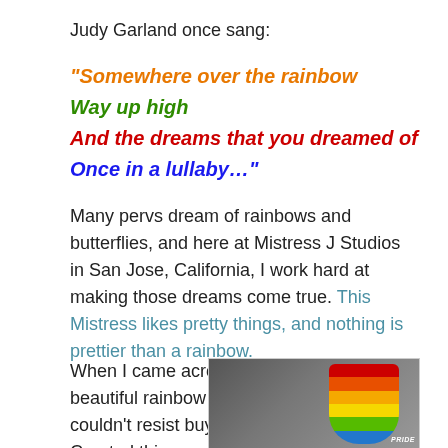Judy Garland once sang:
“Somewhere over the rainbow
Way up high
And the dreams that you dreamed of
Once in a lullaby…”
Many pervs dream of rainbows and butterflies, and here at Mistress J Studios in San Jose, California, I work hard at making those dreams come true. This Mistress likes pretty things, and nothing is prettier than a rainbow.
When I came across this beautiful rainbow cock I couldn’t resist buying it. Created this year in honor of the
[Figure (photo): Photo of a rainbow-colored object in packaging with a Pride label, shown against a dark background.]